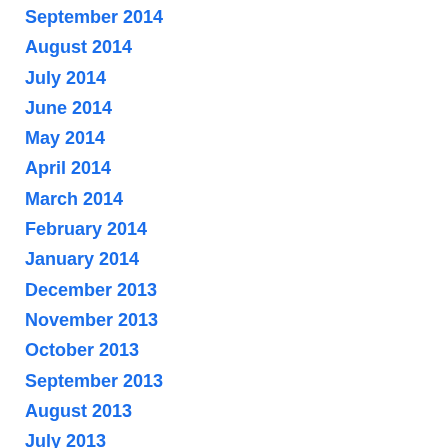September 2014
August 2014
July 2014
June 2014
May 2014
April 2014
March 2014
February 2014
January 2014
December 2013
November 2013
October 2013
September 2013
August 2013
July 2013
June 2013
May 2013
April 2013
March 2013
February 2013